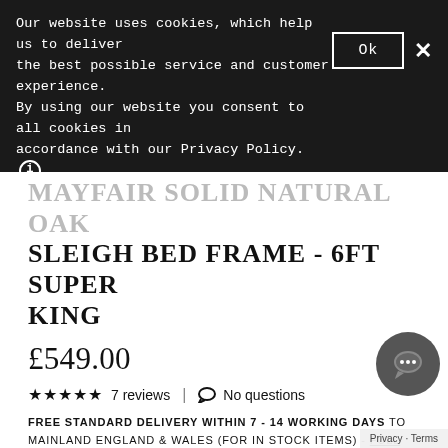Our website uses cookies, which help us to deliver the best possible service and customer experience. By using our website you consent to all cookies in accordance with our Privacy Policy.
MAYFAIR SOLID NATURAL OAK SLEIGH BED FRAME - 6FT SUPER KING
£549.00
★★★★★ 7 reviews | No questions
FREE STANDARD DELIVERY WITHIN 7 - 14 WORKING DAYS TO MAINLAND ENGLAND & WALES (FOR IN STOCK ITEMS) - FULL DELIVERY DETAILS
Availability: over 10 in stock
SIZE
6ft Super King
COLOUR/FINISH — Natural Oak